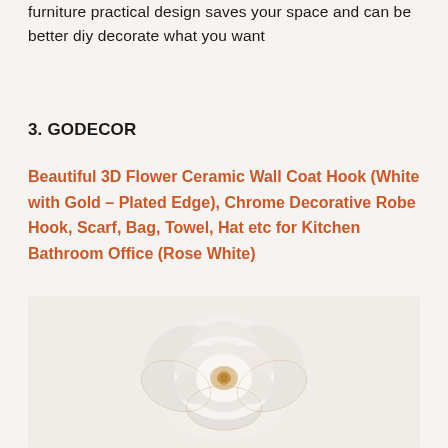furniture practical design saves your space and can be better diy decorate what you want
3. GODECOR
Beautiful 3D Flower Ceramic Wall Coat Hook (White with Gold – Plated Edge), Chrome Decorative Robe Hook, Scarf, Bag, Towel, Hat etc for Kitchen Bathroom Office (Rose White)
[Figure (photo): White ceramic rose flower wall coat hook with gold-plated edge detail, shown against a light beige background]